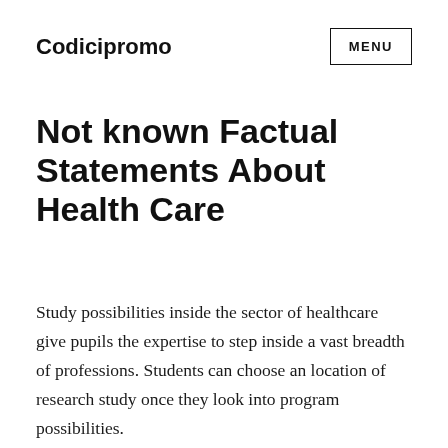Codicipromo
Not known Factual Statements About Health Care
Study possibilities inside the sector of healthcare give pupils the expertise to step inside a vast breadth of professions. Students can choose an location of research study once they look into program possibilities.